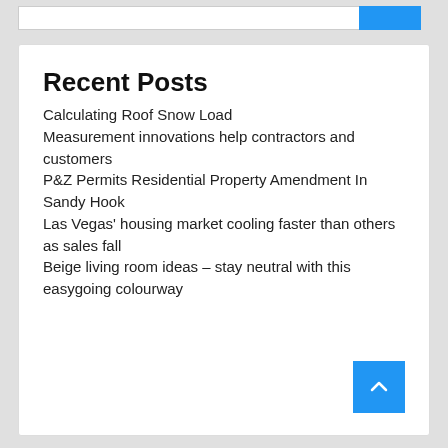Recent Posts
Calculating Roof Snow Load
Measurement innovations help contractors and customers
P&Z Permits Residential Property Amendment In Sandy Hook
Las Vegas' housing market cooling faster than others as sales fall
Beige living room ideas – stay neutral with this easygoing colourway